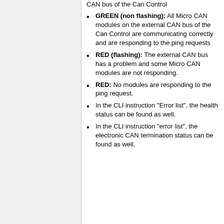CAN bus of the Can Control
GREEN (non flashing): All Micro CAN modules on the external CAN bus of the Can Control are communicating correctly and are responding to the ping requests
RED (flashing): The external CAN bus has a problem and some Micro CAN modules are not responding.
RED: No modules are responding to the ping request.
In the CLI instruction "Error list", the health status can be found as well.
In the CLI instruction "error list", the electronic CAN termination status can be found as well.